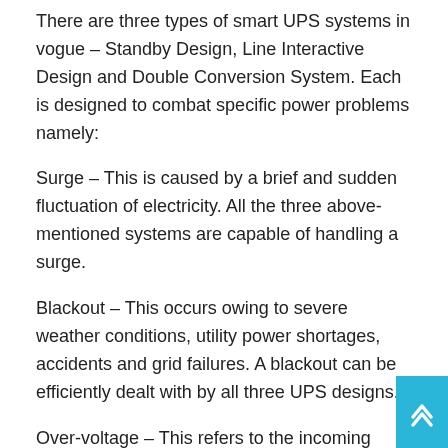There are three types of smart UPS systems in vogue – Standby Design, Line Interactive Design and Double Conversion System. Each is designed to combat specific power problems namely:
Surge – This is caused by a brief and sudden fluctuation of electricity. All the three above-mentioned systems are capable of handling a surge.
Blackout – This occurs owing to severe weather conditions, utility power shortages, accidents and grid failures. A blackout can be efficiently dealt with by all three UPS designs.
Over-voltage – This refers to the incoming voltage exceeding the standard level. Line interactive and double conversion systems are equipped to handle this condition.
Frequency variation – This problem is faced when power